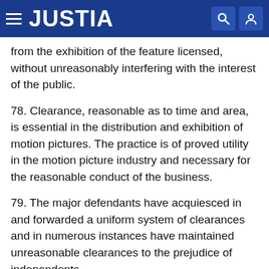JUSTIA
from the exhibition of the feature licensed, without unreasonably interfering with the interest of the public.
78. Clearance, reasonable as to time and area, is essential in the distribution and exhibition of motion pictures. The practice is of proved utility in the motion picture industry and necessary for the reasonable conduct of the business.
79. The major defendants have acquiesced in and forwarded a uniform system of clearances and in numerous instances have maintained unreasonable clearances to the prejudice of independents.
80. Some licenses granted clearance to all theatres which the exhibitor party to the contract might thereafter own, lease, control, manage, or operate against all theatres in the immediate vicinity of the